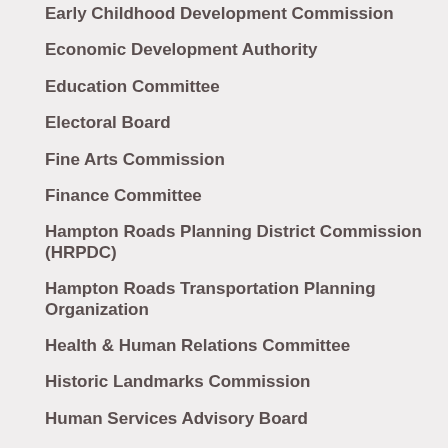Early Childhood Development Commission
Economic Development Authority
Education Committee
Electoral Board
Fine Arts Commission
Finance Committee
Hampton Roads Planning District Commission (HRPDC)
Hampton Roads Transportation Planning Organization
Health & Human Relations Committee
Historic Landmarks Commission
Human Services Advisory Board